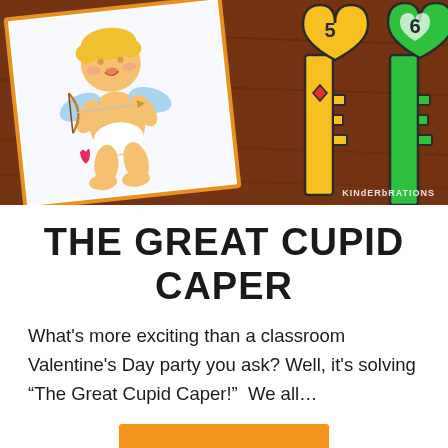[Figure (photo): Photo of classroom Valentine's Day activity materials on a wooden table: a white card with a cartoon Cupid illustration, and colorful heart-shaped keys with numbers 5 and 6. Watermark reads KINDERBRATIONS.]
THE GREAT CUPID CAPER
What's more exciting than a classroom Valentine's Day party you ask? Well, it's solving “The Great Cupid Caper!”  We all…